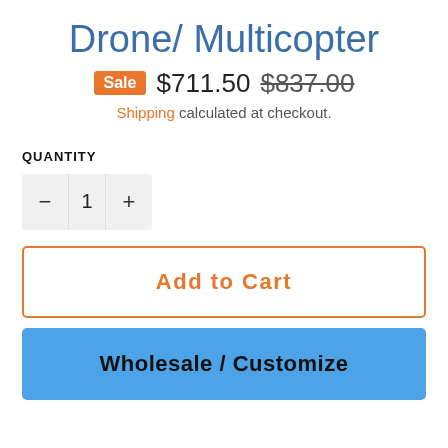Drone/ Multicopter
Sale $711.50 $837.00
Shipping calculated at checkout.
QUANTITY
- 1 +
Add to Cart
Wholesale / Customize